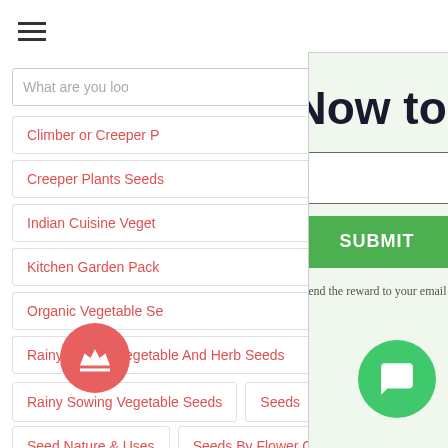[Figure (screenshot): Website navigation page with hamburger menu, search bar, category links, and a signup modal overlay offering ₹200 reward]
What are you loo
Climber or Creeper P
Creeper Plants Seeds
Indian Cuisine Veget
Kitchen Garden Pack
Organic Vegetable Se
Rainy Sowing Vegetable And Herb Seeds
Rainy Sowing Vegetable Seeds
Seeds
Seeds By Cuisines
Seeds By Nature & Uses
Seeds By Flower Color
Seeds
Seeds Can Be Grown In Pots
Seeds Review
Sign Up Now to get ₹200
We will send the reward to your email instantly